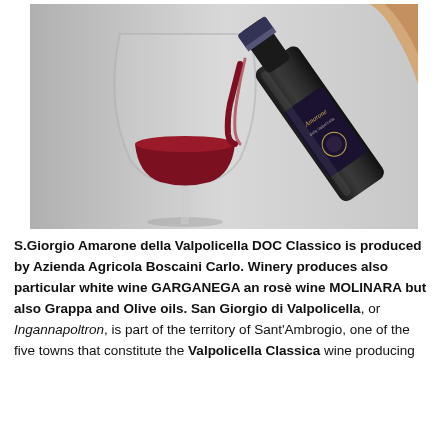[Figure (photo): A hand holding a dark bottle of S.Giorgio Amarone della Valpolicella wine, pouring red wine into a large wine glass. The bottle has a dark label with 'Amarone' visible. Background is neutral grey/white.]
S.Giorgio Amarone della Valpolicella DOC Classico is produced by Azienda Agricola Boscaini Carlo. Winery produces also particular white wine GARGANEGA an rosè wine MOLINARA but also Grappa and Olive oils. San Giorgio di Valpolicella, or Ingannapoltron, is part of the territory of Sant'Ambrogio, one of the five towns that constitute the Valpolicella Classica wine producing